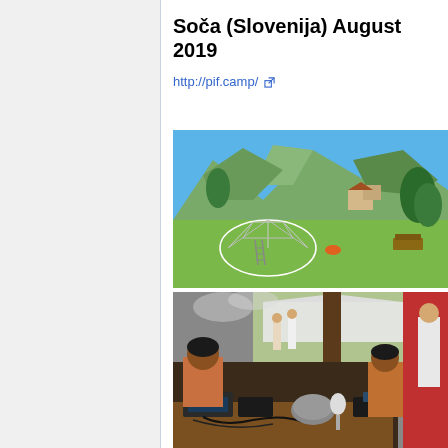Soča (Slovenija) August 2019
http://pif.camp/
[Figure (photo): Outdoor scene in a green valley with mountains in the background. A geodesic dome structure is visible in the foreground on grass, with trees and buildings in the background under a blue sky.]
[Figure (photo): Indoor/outdoor workshop or maker space scene. A person works at a table covered with electronics and cables. In the background, people stand near a white tent canopy. Another person is visible on the right side.]